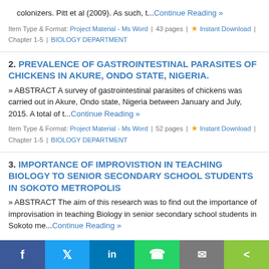colonizers. Pitt et al (2009). As such, t...Continue Reading »
Item Type & Format: Project Material - Ms Word | 43 pages | ★ Instant Download | Chapter 1-5 | BIOLOGY DEPARTMENT
2. PREVALENCE OF GASTROINTESTINAL PARASITES OF CHICKENS IN AKURE, ONDO STATE, NIGERIA.
» ABSTRACT A survey of gastrointestinal parasites of chickens was carried out in Akure, Ondo state, Nigeria between January and July, 2015. A total of t...Continue Reading »
Item Type & Format: Project Material - Ms Word | 52 pages | ★ Instant Download | Chapter 1-5 | BIOLOGY DEPARTMENT
3. IMPORTANCE OF IMPROVISTION IN TEACHING BIOLOGY TO SENIOR SECONDARY SCHOOL STUDENTS IN SOKOTO METROPOLIS
» ABSTRACT The aim of this research was to find out the importance of improvisation in teaching Biology in senior secondary school students in Sokoto me...Continue Reading »